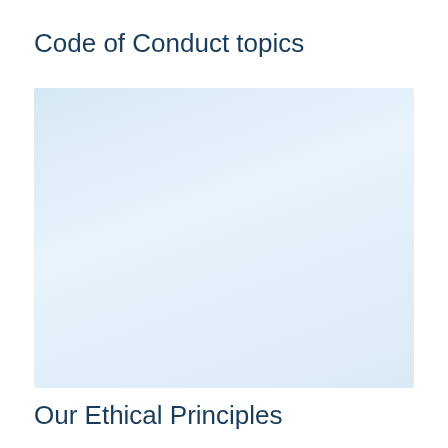Code of Conduct topics
[Figure (other): Light blue gradient background box, representing a placeholder or image area for Code of Conduct topics content.]
Our Ethical Principles
...